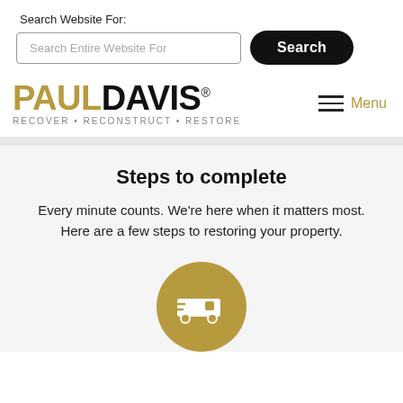Search Website For:
[Figure (screenshot): Search input box with placeholder text 'Search Entire Website For' and a black rounded 'Search' button]
[Figure (logo): Paul Davis logo with tagline RECOVER • RECONSTRUCT • RESTORE and hamburger menu with 'Menu' label]
Steps to complete
Every minute counts. We're here when it matters most. Here are a few steps to restoring your property.
[Figure (illustration): Gold circle icon with a white delivery van illustration]